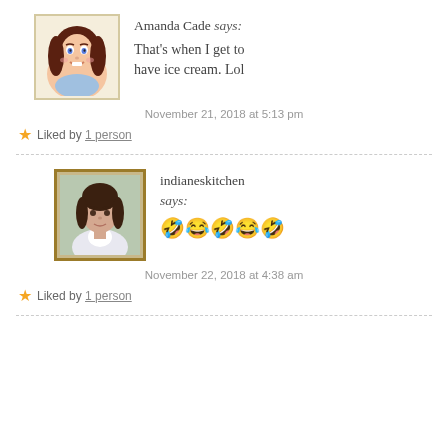[Figure (illustration): Bitmoji avatar of Amanda Cade - cartoon woman with brown hair]
Amanda Cade says:
That's when I get to have ice cream. Lol
November 21, 2018 at 5:13 pm
★ Liked by 1 person
[Figure (photo): Photo of indianeskitchen - woman with dark hair]
indianeskitchen says:
🤣😂🤣😂🤣
November 22, 2018 at 4:38 am
★ Liked by 1 person